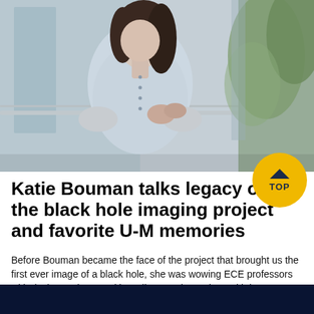[Figure (photo): Woman with dark hair wearing a light blue button-up shirt, leaning on a railing in a building with glass windows and green trees visible outside.]
Katie Bouman talks legacy of the black hole imaging project and favorite U-M memories
Before Bouman became the face of the project that brought us the first ever image of a black hole, she was wowing ECE professors with design projects and hoarding Domino's pizza with her HKN family.
[Figure (photo): Dark navy blue background, bottom portion of the page.]